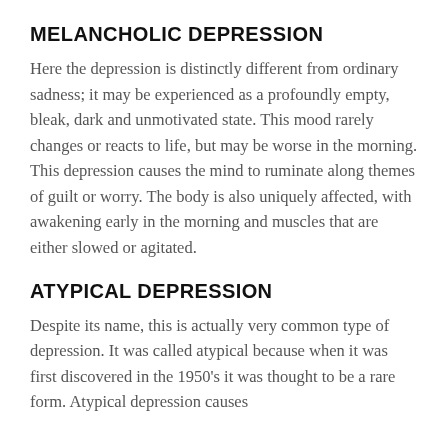MELANCHOLIC DEPRESSION
Here the depression is distinctly different from ordinary sadness; it may be experienced as a profoundly empty, bleak, dark and unmotivated state. This mood rarely changes or reacts to life, but may be worse in the morning. This depression causes the mind to ruminate along themes of guilt or worry. The body is also uniquely affected, with awakening early in the morning and muscles that are either slowed or agitated.
ATYPICAL DEPRESSION
Despite its name, this is actually very common type of depression. It was called atypical because when it was first discovered in the 1950’s it was thought to be a rare form. Atypical depression causes